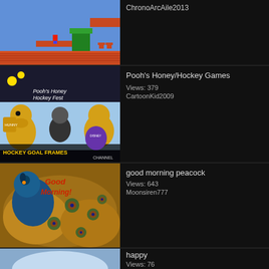[Figure (screenshot): Super Mario Bros NES game thumbnail showing Mario on a platform with pipes]
ChronoArcAile2013
[Figure (screenshot): Pooh's Honey/Hockey Games cartoon thumbnail - Hockey Goal Frames Disney Channel]
Pooh's Honey/Hockey Games
Views: 379
CartoonKid2009
[Figure (photo): Good morning peacock - colorful peacock with spread feathers and text Good Morning]
good morning peacock
Views: 643
Moonsiren777
[Figure (photo): happy - partial thumbnail showing sky/clouds]
happy
Views: 76